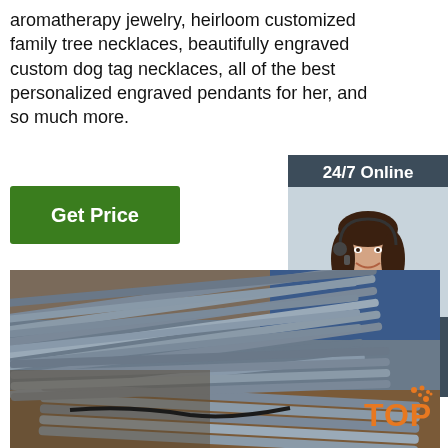aromatherapy jewelry, heirloom customized family tree necklaces, beautifully engraved custom dog tag necklaces, all of the best personalized engraved pendants for her, and so much more.
Get Price
24/7 Online
[Figure (photo): Woman with headset smiling, customer service representative]
Click here for free chat !
QUOTATION
[Figure (photo): Large pile of steel rods/bars stacked outdoors on a construction site]
[Figure (logo): TOP logo in orange with decorative dots]